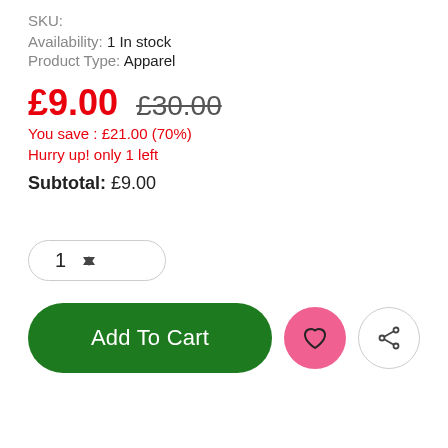SKU:
Availability: 1 In stock
Product Type: Apparel
£9.00  £30.00
You save : £21.00 (70%)
Hurry up! only 1 left
Subtotal: £9.00
[Figure (screenshot): Quantity selector box showing '1' with up/down arrows, rounded pill border]
[Figure (screenshot): Add To Cart green pill button, pink heart circle button, gray share circle button]